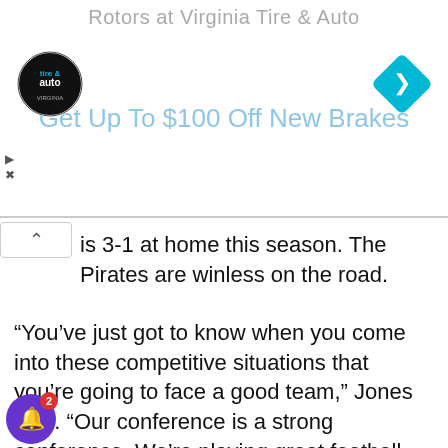[Figure (other): Advertisement banner for Virginia Tire & Auto — 'Rotors at Virginia Tire & Auto' headline, logo circle with tire & auto text, blue diamond arrow icon, 'Get Up To $100 Off New Brakes' subheading in light blue]
is 3-1 at home this season. The Pirates are winless on the road.
“You’ve just got to know when you come into these competitive situations that you’re going to face a good team,” Jones said. “Our conference is a strong conference. We’re playing great football teams. Tulsa proved to be one of the best ones. They’re 7-2. . . . They have a great football team.
“When you go…ared for a…with their fans and things of that sort. It’s a different atmosphere but we’ll get it right. We have
[Figure (other): Notification popup tooltip showing 'Wednesday, August 24, 2022' in purple and '13 hours ago' in gray]
[Figure (other): Purple notification bell icon with red badge showing '2']